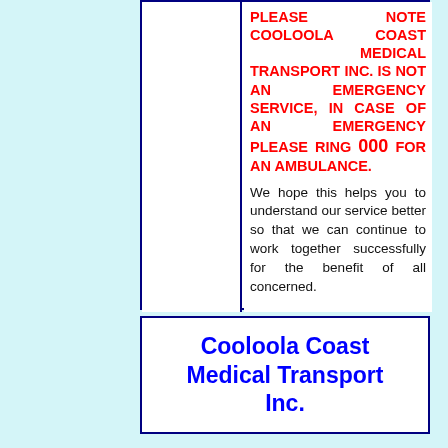PLEASE NOTE COOLOOLA COAST MEDICAL TRANSPORT INC. IS NOT AN EMERGENCY SERVICE, IN CASE OF AN EMERGENCY PLEASE RING 000 FOR AN AMBULANCE.
We hope this helps you to understand our service better so that we can continue to work together successfully for the benefit of all concerned.
Cooloola Coast Medical Transport Inc.